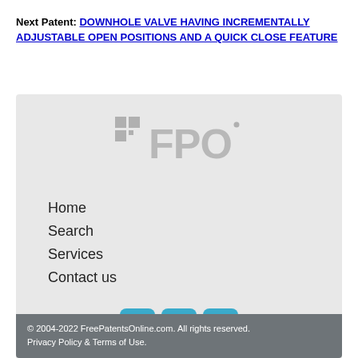Next Patent: DOWNHOLE VALVE HAVING INCREMENTALLY ADJUSTABLE OPEN POSITIONS AND A QUICK CLOSE FEATURE
[Figure (logo): FPO (Free Patents Online) logo in gray, showing stylized grid icon with FPO text]
Home
Search
Services
Contact us
[Figure (other): Three social media icon buttons: Twitter (t), LinkedIn (in), and Email (envelope icon), teal/blue rounded squares]
© 2004-2022 FreePatentsOnline.com. All rights reserved. Privacy Policy & Terms of Use.